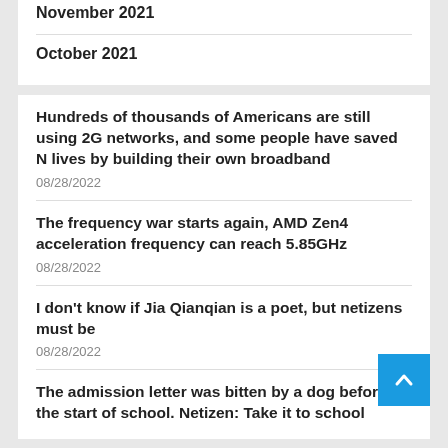November 2021
October 2021
Hundreds of thousands of Americans are still using 2G networks, and some people have saved N lives by building their own broadband
08/28/2022
The frequency war starts again, AMD Zen4 acceleration frequency can reach 5.85GHz
08/28/2022
I don't know if Jia Qianqian is a poet, but netizens must be
08/28/2022
The admission letter was bitten by a dog before the start of school. Netizen: Take it to school